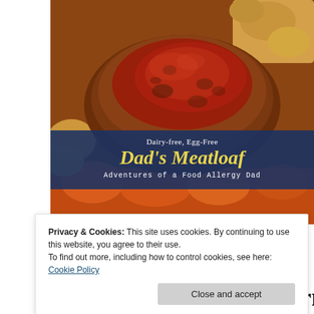[Figure (photo): Photo of meatloaf with vegetables (carrots, potatoes) in a baking dish. Over the photo is a dark navy blue banner overlay with text: 'Dairy-free, Egg-Free' in white, 'Dad's Meatloaf' in large yellow italic script, and 'Adventures of a Food Allergy Dad' in white monospace font.]
Privacy & Cookies: This site uses cookies. By continuing to use this website, you agree to their use.
To find out more, including how to control cookies, see here: Cookie Policy
Close and accept
winter in the Midwestern. For